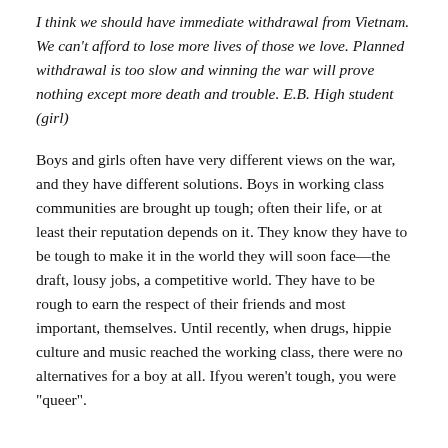I think we should have immediate withdrawal from Vietnam. We can't afford to lose more lives of those we love. Planned withdrawal is too slow and winning the war will prove nothing except more death and trouble. E.B. High student (girl)
Boys and girls often have very different views on the war, and they have different solutions. Boys in working class communities are brought up tough; often their life, or at least their reputation depends on it. They know they have to be tough to make it in the world they will soon face—the draft, lousy jobs, a competitive world. They have to be rough to earn the respect of their friends and most important, themselves. Until recently, when drugs, hippie culture and music reached the working class, there were no alternatives for a boy at all. Ifyou weren't tough, you were "queer".